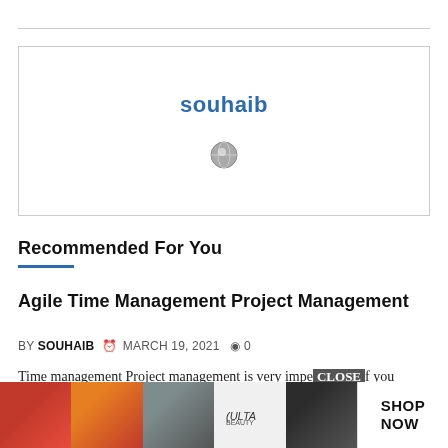[Figure (other): Advertisement box with 'souhaib' text in blue and a small globe/browser icon below it]
Recommended For You
Agile Time Management Project Management
BY SOUHAIB  MARCH 19, 2021  0
Time management Project management is very important if you are an d... he managi...
[Figure (photo): Advertisement banner showing beauty/makeup photos and ULTA beauty logo with CLOSE button and SHOP NOW call to action]